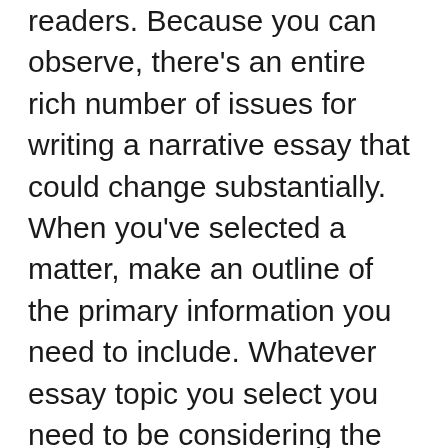readers. Because you can observe, there's an entire rich number of issues for writing a narrative essay that could change substantially. When you've selected a matter, make an outline of the primary information you need to include. Whatever essay topic you select you need to be considering the topic buy essay and familiar by it. Choosing the narrative essay issue is an ambitious undertaking to varied students. It certainly is excellent to pick the ideal story essay topic for your own work. You're writing a